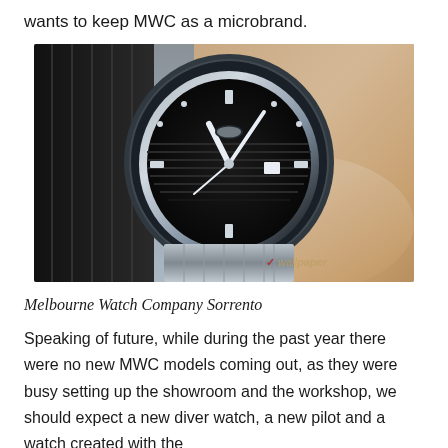wants to keep MWC as a microbrand.
[Figure (photo): A wrist wearing a Melbourne Watch Company Sorrento diver watch with a black dial and stainless steel bracelet, shown against a dark pinstripe suit jacket on the left and skin on the right. A watermark reading 'wallpaper' with a red checkmark is visible in the lower right.]
Melbourne Watch Company Sorrento
Speaking of future, while during the past year there were no new MWC models coming out, as they were busy setting up the showroom and the workshop, we should expect a new diver watch, a new pilot and a watch created with the